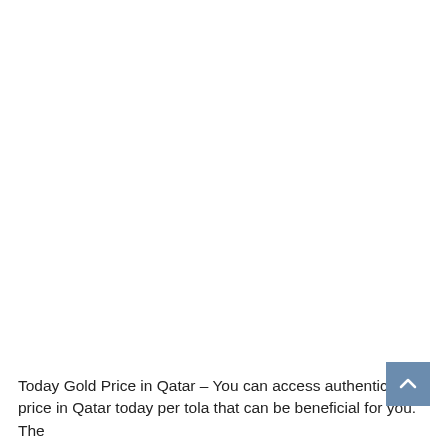Today Gold Price in Qatar – You can access authentic gold price in Qatar today per tola that can be beneficial for you. The